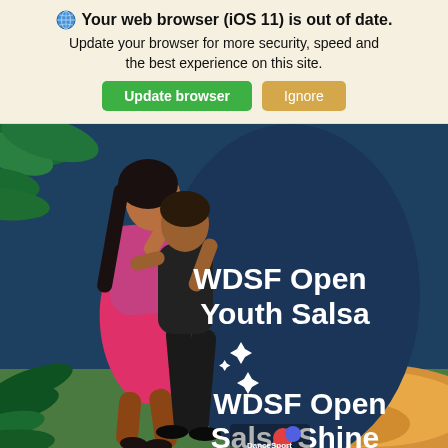🌐 Your web browser (iOS 11) is out of date. Update your browser for more security, speed and the best experience on this site.
[Figure (illustration): Promotional illustration for WDSF Open Youth Salsa and WDSF Open Salsa Shine events, showing two dancers (a woman in pink dress and a man in black) against a tropical background with text and sparkle decorations]